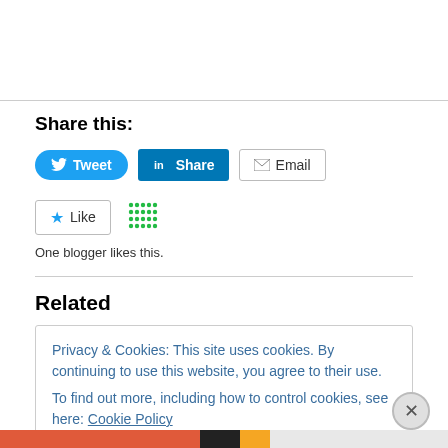Share this:
[Figure (screenshot): Social share buttons: Tweet (Twitter blue pill button), Share (LinkedIn blue button), Email (grey bordered button)]
[Figure (screenshot): Like button (star icon, grey border) and a green dot-grid icon. Text: One blogger likes this.]
Related
Privacy & Cookies: This site uses cookies. By continuing to use this website, you agree to their use. To find out more, including how to control cookies, see here: Cookie Policy
Close and accept